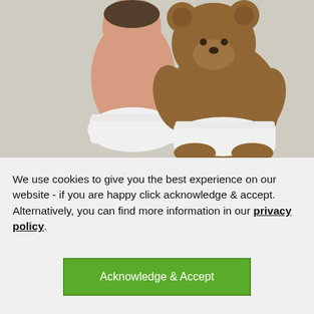[Figure (photo): A baby in a white diaper sitting on a carpet with its back to the camera, hugging a large brown teddy bear also wearing a white diaper.]
We use cookies to give you the best experience on our website - if you are happy click acknowledge & accept. Alternatively, you can find more information in our privacy policy.
Acknowledge & Accept